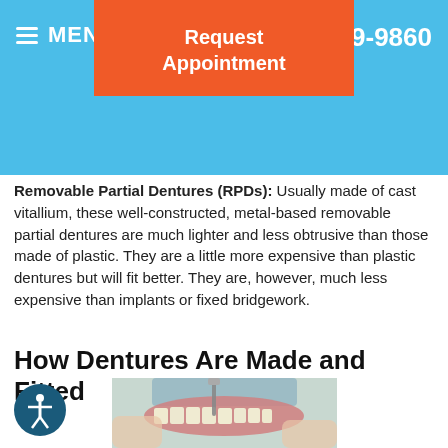MENU | (517) 349-9860 | Request Appointment
Removable Partial Dentures (RPDs): Usually made of cast vitallium, these well-constructed, metal-based removable partial dentures are much lighter and less obtrusive than those made of plastic. They are a little more expensive than plastic dentures but will fit better. They are, however, much less expensive than implants or fixed bridgework.
How Dentures Are Made and Fitted
[Figure (photo): Hands working on a dental denture model with a tool, fitting teeth into a pink acrylic denture base]